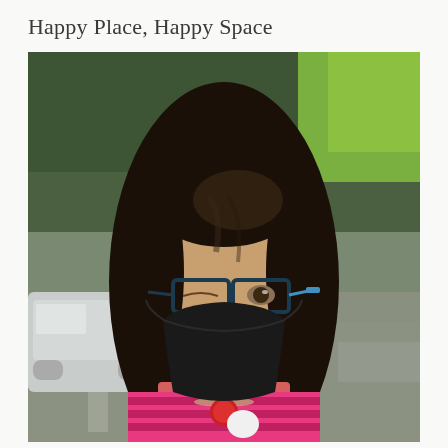Happy Place, Happy Space
[Figure (photo): A person wearing a black face mask and dark-framed glasses with blue accents, with long dark hair, wearing a pink striped top and a necklace with a red heart pendant, standing outdoors with blurred trees and parked cars in the background.]